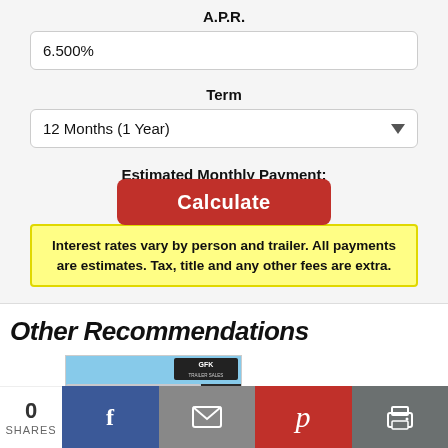A.P.R.
6.500%
Term
12 Months (1 Year)
Estimated Monthly Payment:
Calculate
Interest rates vary by person and trailer. All payments are estimates. Tax, title and any other fees are extra.
Other Recommendations
[Figure (photo): Photo of a silver/aluminum trailer with GFK Trailer Sales logo visible in the top right, blue sky background]
[Figure (other): Dark box with upward arrow icon (scroll-to-top button)]
0 SHARES
[Figure (other): Social share bar with Facebook, email, Pinterest, and print buttons]